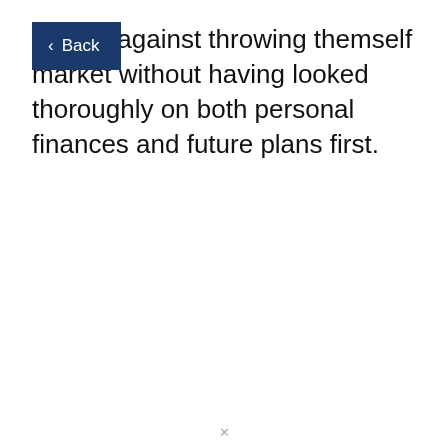Back
udents against throwing themself market without having looked thoroughly on both personal finances and future plans first.